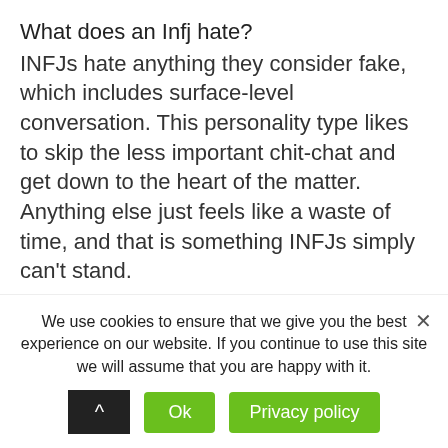What does an Infj hate?
INFJs hate anything they consider fake, which includes surface-level conversation. This personality type likes to skip the less important chit-chat and get down to the heart of the matter. Anything else just feels like a waste of time, and that is something INFJs simply can't stand.
Why do INFJs stare?
The Introverted Intuition (Ni), combined with the inferior Extraverted Sensing (Se) cognitive processes, work in unity to make INFJs intensely focused. And when INFJs get genuinely absorbed
We use cookies to ensure that we give you the best experience on our website. If you continue to use this site we will assume that you are happy with it.